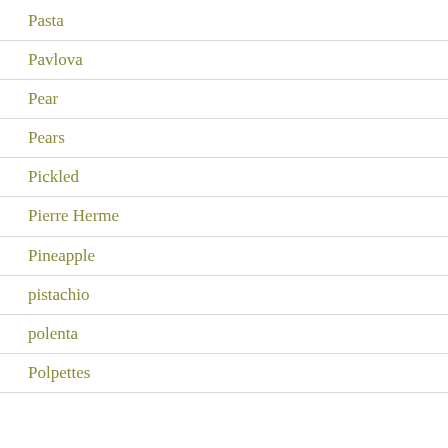Pasta
Pavlova
Pear
Pears
Pickled
Pierre Herme
Pineapple
pistachio
polenta
Polpettes